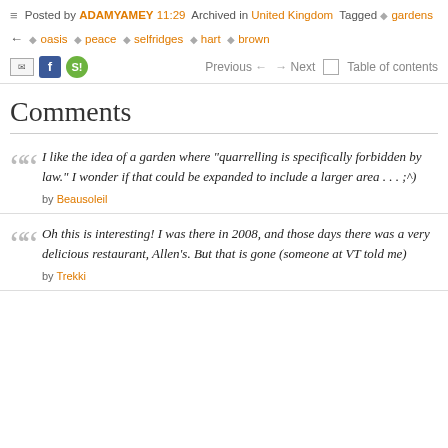Posted by ADAMYAMEY 11:29 Archived in United Kingdom Tagged gardens oasis peace selfridges hart brown
Previous | Next | Table of contents
Comments
I like the idea of a garden where "quarrelling is specifically forbidden by law." I wonder if that could be expanded to include a larger area . . . ;^) by Beausoleil
Oh this is interesting! I was there in 2008, and those days there was a very delicious restaurant, Allen's. But that is gone (someone at VT told me) by Trekki